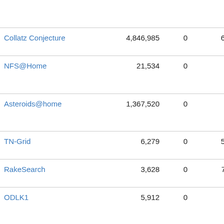| Name | Count | Zero | Date |
| --- | --- | --- | --- |
|  |  |  | Sep 2018 |
| Collatz Conjecture | 4,846,985 | 0 | 6 Nov 2009 |
| NFS@Home | 21,534 | 0 | 15 Nov 2018 |
| Asteroids@home | 1,367,520 | 0 | 12 Mar 2018 |
| TN-Grid | 6,279 | 0 | 5 Nov 2018 |
| RakeSearch | 3,628 | 0 | 7 Mar 2019 |
| ODLK1 | 5,912 | 0 | 15 Nov 2018 |
| odlk | 9,239 | 0 | 15 Nov |